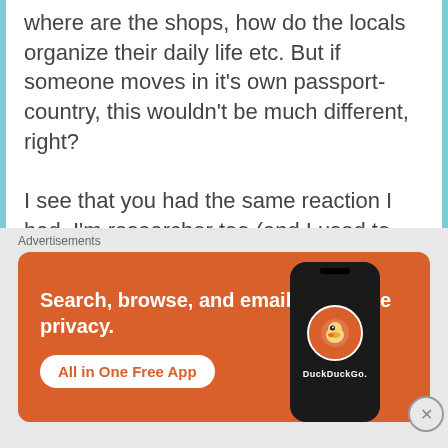where are the shops, how do the locals organize their daily life etc. But if someone moves in it's own passport-country, this wouldn't be much different, right?
I see that you had the same reaction I had. I'm researcher too (and I used to work at the University too) and I guess this is just our way to approach things: do research on a topic that intrigues us. It's exactly this negative tone of posts, studies etc. about this topic that made me write this post. I
Advertisements
[Figure (infographic): DuckDuckGo advertisement banner with orange background. Text reads 'Search, browse, and email with more privacy. All in One Free App' with a smartphone showing the DuckDuckGo logo.]